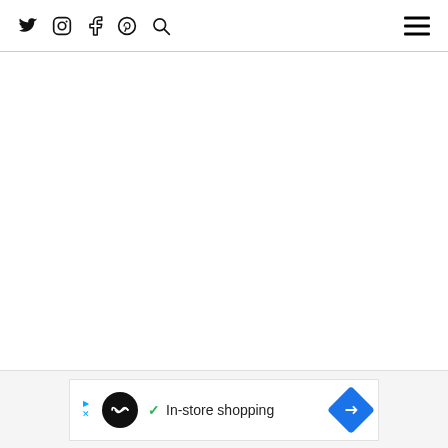Social icons: Twitter, Instagram, Facebook, Pinterest, Search | Hamburger menu
[Figure (screenshot): Large blank white content area below the navigation header]
[Figure (infographic): Ad banner at bottom: Loopla logo with In-store shopping text and navigation arrow icon]